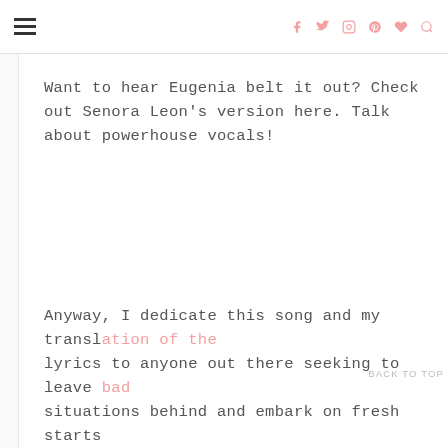☰  [social icons: facebook, twitter, instagram, pinterest, heart, search]
Want to hear Eugenia belt it out? Check out Senora Leon's version here. Talk about powerhouse vocals!
Anyway, I dedicate this song and my translation of the lyrics to anyone out there seeking to leave bad situations behind and embark on fresh starts
BACK TO TOP